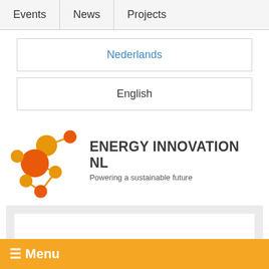Events  News  Projects
Nederlands
English
[Figure (logo): Energy Innovation NL logo — orange molecule/network icon with text 'ENERGY INNOVATION NL' and tagline 'Powering a sustainable future']
Search
Or, instead, search in the project database
☰ Menu